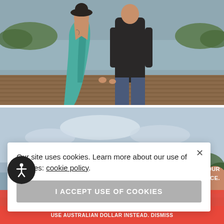[Figure (photo): Two people standing on a wooden deck by a lake, viewed from behind. One wears a backless teal/green dress with tattoos and a wide-brim hat; the other wears a dark sweater and jeans. They appear to be holding hands.]
[Figure (photo): Two people partially visible from behind near a lake with cloudy sky. Cookie consent modal overlaid on top.]
Our site uses cookies. Learn more about our use of cookies: cookie policy
I ACCEPT USE OF COOKIES
WE'VE UPDATED OUR
ING CONVENIENCE.
USE AUSTRALIAN DOLLAR INSTEAD. DISMISS